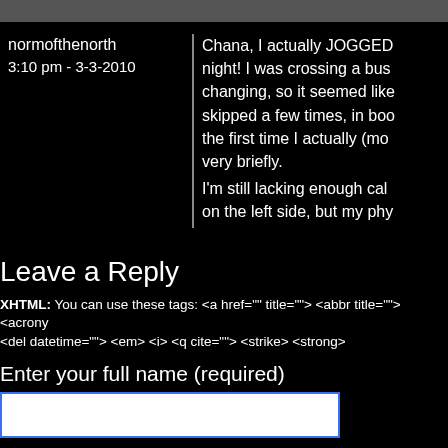normofthenorth
3:10 pm - 3-3-2010
Chana, I actually JOGGED night! I was crossing a bus changing, so it seemed like skipped a few times, in boo the first time I actually (mo very briefly.
I'm still lacking enough cal on the left side, but my phy
Leave a Reply
XHTML: You can use these tags: <a href="" title=""> <abbr title=""> <acrony <del datetime=""> <em> <i> <q cite=""> <strike> <strong>
Enter your full name (required)
Mail (will not be published) (required)